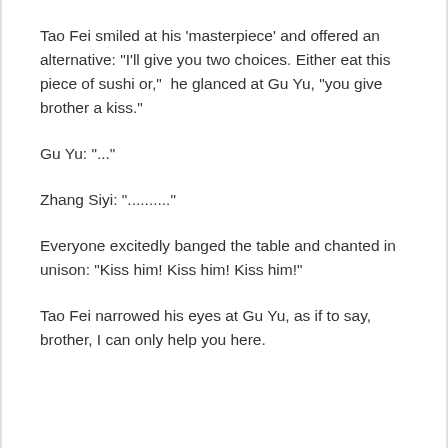Tao Fei smiled at his 'masterpiece' and offered an alternative: "I'll give you two choices. Either eat this piece of sushi or,"  he glanced at Gu Yu, "you give brother a kiss."
Gu Yu: "..."
Zhang Siyi: ".........."
Everyone excitedly banged the table and chanted in unison: "Kiss him! Kiss him! Kiss him!"
Tao Fei narrowed his eyes at Gu Yu, as if to say, brother, I can only help you here.